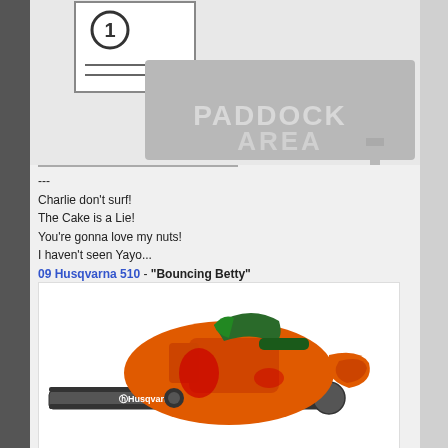[Figure (illustration): Paddock area sign illustration with a circled number 1 in top left corner, and a gray 'PADDOCK AREA' sign/banner in the lower right portion]
---
Charlie don't surf!
The Cake is a Lie!
You're gonna love my nuts!
I haven't seen Yayo...
09 Husqvarna 510 - "Bouncing Betty"
07 ZX-6R - "Crack"
07 Mean Streak Special Edition - "Blow"
[Figure (photo): Photo of an orange Husqvarna chainsaw with green handle and bar, on white background]